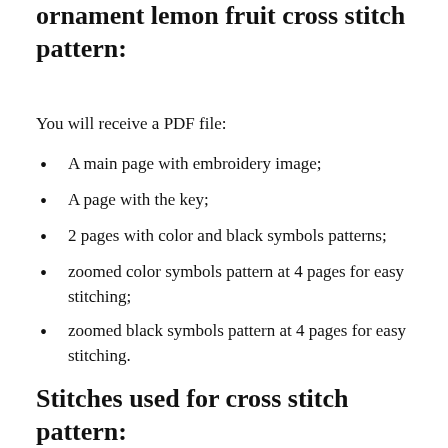ornament lemon fruit cross stitch pattern:
You will receive a PDF file:
A main page with embroidery image;
A page with the key;
2 pages with color and black symbols patterns;
zoomed color symbols pattern at 4 pages for easy stitching;
zoomed black symbols pattern at 4 pages for easy stitching.
Stitches used for cross stitch pattern: